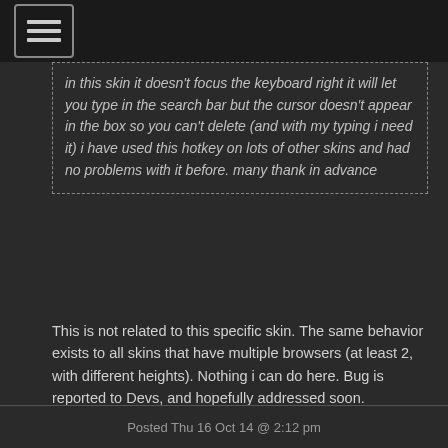[Figure (other): Hamburger menu icon — three horizontal lines inside a rounded rectangle border]
in this skin it doesn't focus the keyboard right it will let you type in the search bar but the cursor doesn't appear in the box so you can't delete (and with my typing i need it) i have used this hotkey on lots of other skins and had no problems with it before. many thank in advance
This is not related to this specific skin. The same behavior exists to all skins that have multiple browsers (at least 2, with different heights). Nothing i can do here. Bug is reported to Devs, and hopefully addressed soon.
Posted Thu 16 Oct 14 @ 2:12 pm